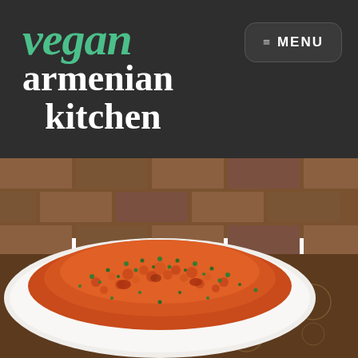vegan armenian kitchen
≡ MENU
[Figure (photo): A white rectangular serving plate piled with orange-red bulgur wheat (eech/mujaddara style dish) garnished with chopped green herbs/parsley, placed on a decorative brown patterned tablecloth with brick wall background.]